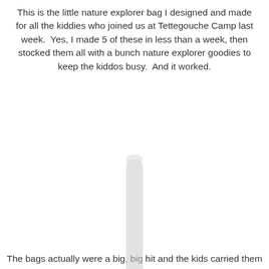This is the little nature explorer bag I designed and made for all the kiddies who joined us at Tettegouche Camp last week.  Yes, I made 5 of these in less than a week, then stocked them all with a bunch nature explorer goodies to keep the kiddos busy.  And it worked.
[Figure (other): A vertical scrollbar or decorative divider element in the center of the page]
The bags actually were a big, big hit and the kids carried them around all weekend and did things like captured worms and a sluggish wasp in the bug jars, sketched wildflowers in their field notebooks, gathered treasured rocks in their tins, chased each other in the dark with their flashlights, and blew their whistles CONSTANTLY (yes, think twice about including a whistle that can be worn around the neck and carried with